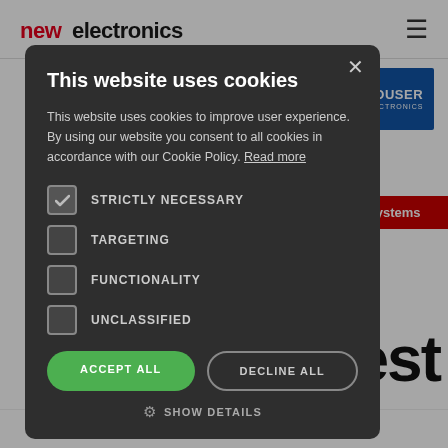newelectronics
[Figure (screenshot): Website background with Mouser Electronics banner and red 'd Systems' banner]
This website uses cookies
This website uses cookies to improve user experience. By using our website you consent to all cookies in accordance with our Cookie Policy. Read more
STRICTLY NECESSARY (checked)
TARGETING
FUNCTIONALITY
UNCLASSIFIED
ACCEPT ALL
DECLINE ALL
SHOW DETAILS
latest
NCB Flash...